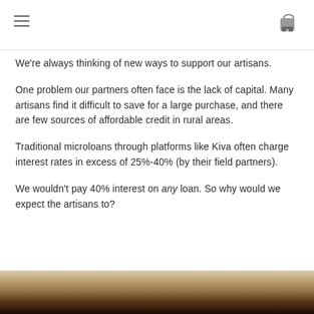Navigation header with hamburger menu and cart icon
We're always thinking of new ways to support our artisans.
One problem our partners often face is the lack of capital. Many artisans find it difficult to save for a large purchase, and there are few sources of affordable credit in rural areas.
Traditional microloans through platforms like Kiva often charge interest rates in excess of 25%-40% (by their field partners).
We wouldn't pay 40% interest on any loan. So why would we expect the artisans to?
[Figure (photo): Close-up photograph of an artisan craft object, dark textured surface with sandy/earthy tones at the top]